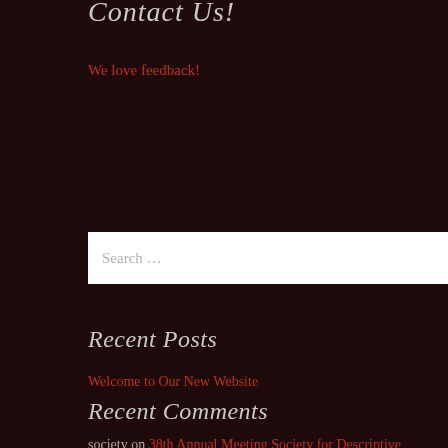Contact Us!
We love feedback!
[Figure (other): Search input box with placeholder text 'Search …']
Recent Posts
Welcome to Our New Website
Recent Comments
society on 38th Annual Meeting Society for Descriptive Psychology